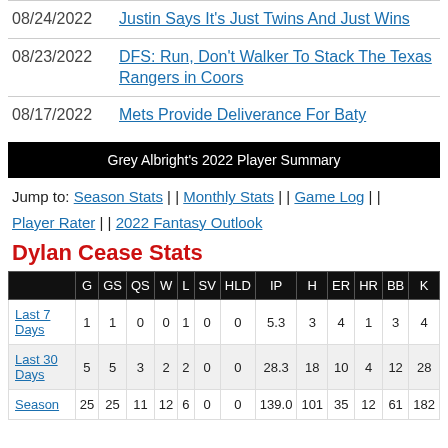08/24/2022  Justin Says It's Just Twins And Just Wins
08/23/2022  DFS: Run, Don't Walker To Stack The Texas Rangers in Coors
08/17/2022  Mets Provide Deliverance For Baty
Grey Albright's 2022 Player Summary
Jump to: Season Stats || Monthly Stats || Game Log || Player Rater || 2022 Fantasy Outlook
Dylan Cease Stats
|  | G | GS | QS | W | L | SV | HLD | IP | H | ER | HR | BB | K |
| --- | --- | --- | --- | --- | --- | --- | --- | --- | --- | --- | --- | --- | --- |
| Last 7 Days | 1 | 1 | 0 | 0 | 1 | 0 | 0 | 5.3 | 3 | 4 | 1 | 3 | 4 |
| Last 30 Days | 5 | 5 | 3 | 2 | 2 | 0 | 0 | 28.3 | 18 | 10 | 4 | 12 | 28 |
| Season | 25 | 25 | 11 | 12 | 6 | 0 | 0 | 139.0 | 101 | 35 | 12 | 61 | 182 |